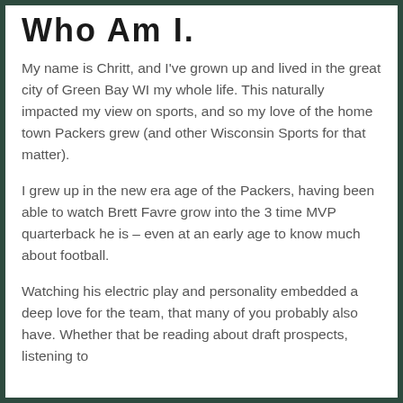Who Am I.
My name is Chritt, and I've grown up and lived in the great city of Green Bay WI my whole life. This naturally impacted my view on sports, and so my love of the home town Packers grew (and other Wisconsin Sports for that matter).
I grew up in the new era age of the Packers, having been able to watch Brett Favre grow into the 3 time MVP quarterback he is – even at an early age to know much about football.
Watching his electric play and personality embedded a deep love for the team, that many of you probably also have. Whether that be reading about draft prospects, listening to